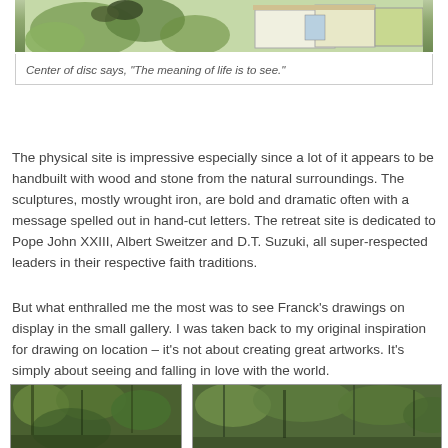[Figure (illustration): Partial view of an illustration/drawing showing nature scene with greenery and a building, cropped at top]
Center of disc says, "The meaning of life is to see."
The physical site is impressive especially since a lot of it appears to be handbuilt with wood and stone from the natural surroundings. The sculptures, mostly wrought iron, are bold and dramatic often with a message spelled out in hand-cut letters. The retreat site is dedicated to Pope John XXIII, Albert Sweitzer and D.T. Suzuki, all super-respected leaders in their respective faith traditions.
But what enthralled me the most was to see Franck’s drawings on display in the small gallery. I was taken back to my original inspiration for drawing on location – it’s not about creating great artworks. It’s simply about seeing and falling in love with the world.
[Figure (photo): Photo of outdoor scene with green trees/foliage, left portion]
[Figure (photo): Photo of outdoor scene with green trees/foliage, right portion]